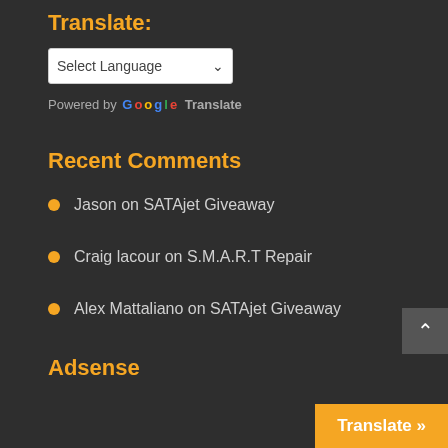Translate:
[Figure (screenshot): Select Language dropdown widget]
Powered by Google Translate
Recent Comments
Jason on SATAjet Giveaway
Craig lacour on S.M.A.R.T Repair
Alex Mattaliano on SATAjet Giveaway
Adsense
[Figure (screenshot): Back to top button with upward arrow]
Translate »